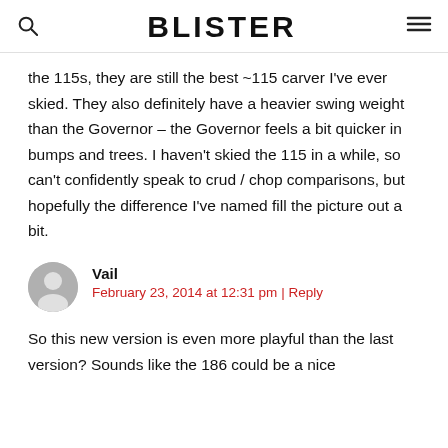BLISTER
the 115s, they are still the best ~115 carver I've ever skied. They also definitely have a heavier swing weight than the Governor – the Governor feels a bit quicker in bumps and trees. I haven't skied the 115 in a while, so can't confidently speak to crud / chop comparisons, but hopefully the difference I've named fill the picture out a bit.
Vail
February 23, 2014 at 12:31 pm | Reply
So this new version is even more playful than the last version? Sounds like the 186 could be a nice